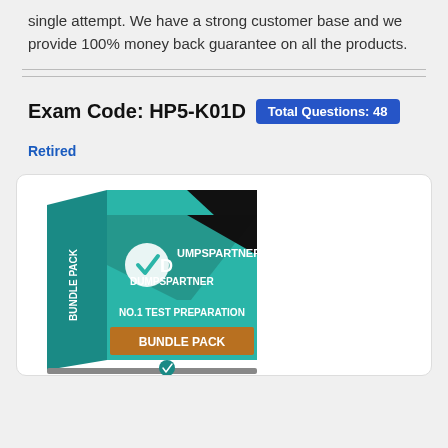single attempt. We have a strong customer base and we provide 100% money back guarantee on all the products.
Exam Code: HP5-K01D  Total Questions: 48
Retired
[Figure (illustration): DumpsPartner Bundle Pack product box illustration showing teal/black box with logo and text NO.1 TEST PREPARATION BUNDLE PACK]